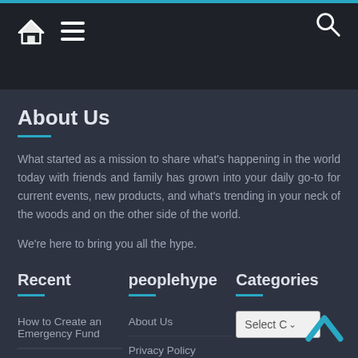[Navigation bar with home icon, hamburger menu, and search icon]
About Us
What started as a mission to share what's happening in the world today with friends and family has grown into your daily go-to for current events, new products, and what's trending in your neck of the woods and on the other side of the world.
We're here to bring you all the hype.
Recent
peoplehype
Categories
How to Create an Emergency Fund
4 Reasons To
About Us
Privacy Policy
Terms of Service